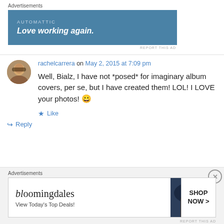Advertisements
[Figure (screenshot): Automattic advertisement banner with blue background. Text: 'AUTOMATTIC' and 'Love working again.']
REPORT THIS AD
rachelcarrera on May 2, 2015 at 7:09 pm
Well, Bialz, I have not *posed* for imaginary album covers, per se, but I have created them! LOL! I LOVE your photos! 😀
★ Like
↪ Reply
Advertisements
[Figure (screenshot): Bloomingdale's advertisement banner. Text: 'bloomingdales', 'View Today's Top Deals!', 'SHOP NOW >' with image of woman in hat.]
REPORT THIS AD